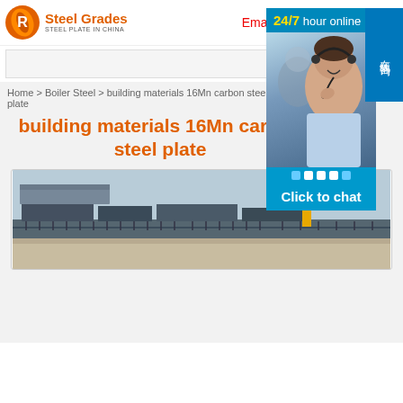Steel Grades — STEEL PLATE IN CHINA | Email: hslasteel@yeah.net
Home > Boiler Steel > building materials 16Mn carbon steel plate
building materials 16Mn carbon steel plate
[Figure (photo): Steel yard with stacked steel plates, crane equipment, fencing, and road in foreground]
[Figure (photo): 24/7 hour online customer service chat widget with female operator wearing headset, blue background, Click to chat button, and Chinese sidebar text 在线咨询]